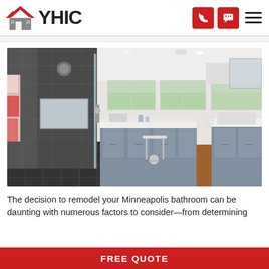YHIC logo with navigation icons (phone, chat, menu)
[Figure (photo): Modern bathroom remodel with glass shower enclosure, gray cabinetry, vanity desk, windows with green foliage view, and warm wood-tone flooring.]
The decision to remodel your Minneapolis bathroom can be daunting with numerous factors to consider—from determining
FREE QUOTE